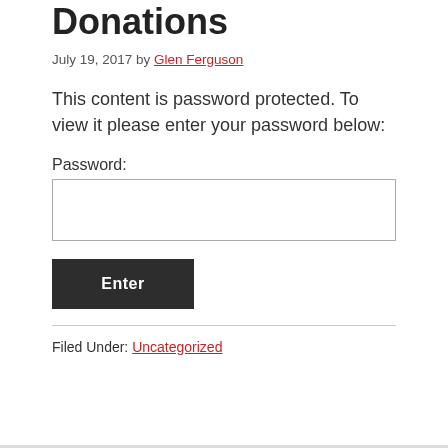Donations
July 19, 2017 by Glen Ferguson
This content is password protected. To view it please enter your password below:
Password:
[Figure (other): Password input text field, empty, with border]
[Figure (other): Enter button, dark background, white bold text]
Filed Under: Uncategorized